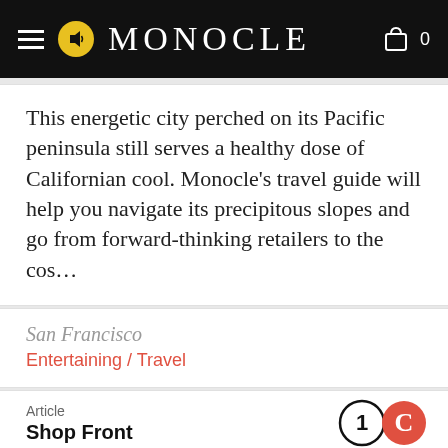MONOCLE
This energetic city perched on its Pacific peninsula still serves a healthy dose of Californian cool. Monocle's travel guide will help you navigate its precipitous slopes and go from forward-thinking retailers to the cos…
San Francisco
Entertaining / Travel
Article
Shop Front
[Figure (other): Gray placeholder area at bottom of page]